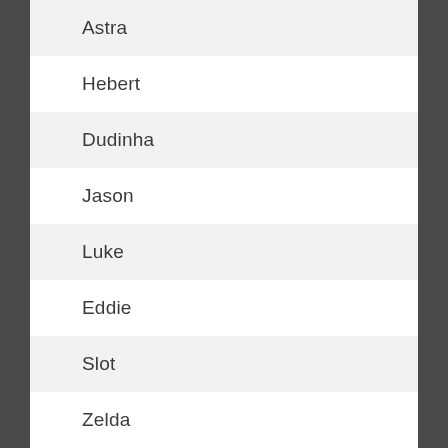Astra
Hebert
Dudinha
Jason
Luke
Eddie
Slot
Zelda